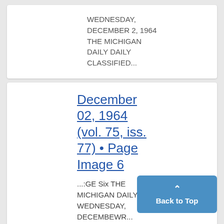WEDNESDAY, DECEMBER 2, 1964 THE MICHIGAN DAILY DAILY CLASSIFIED...
December 02, 1964 (vol. 75, iss. 77) • Page Image 6
...:GE Six THE MICHIGAN DAILY WEDNESDAY, DECEMBEWR... GE SIX TIIE